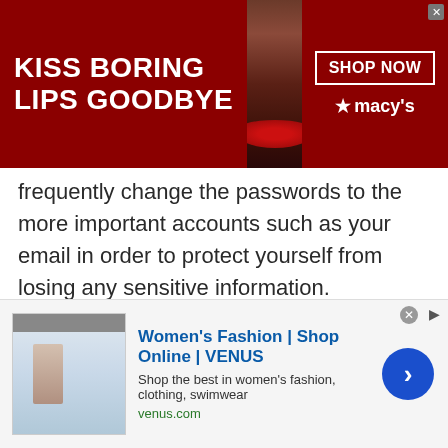[Figure (screenshot): Macy's advertisement banner: dark red background with 'KISS BORING LIPS GOODBYE' text on left, woman with red lips in center, 'SHOP NOW' button and Macy's star logo on right, with close X button]
frequently change the passwords to the more important accounts such as your email in order to protect yourself from losing any sensitive information.
By changing your account's password regularly, the chance of your account being accessed is reduced. Just to be sure, set a reminder for 90 days on your phone, or calendar and change your password frequently. This will remind you to change your password every day.
If you are setting a reminder on your mobile phone, it is a
[Figure (screenshot): Venus.com advertisement: thumbnail of fashion website screenshot on left, 'Women's Fashion | Shop Online | VENUS' title in blue, description text 'Shop the best in women's fashion, clothing, swimwear', 'venus.com' URL in green, blue circle arrow button on right, close X button at top]